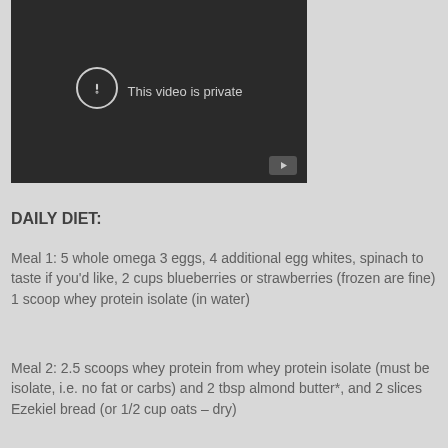[Figure (screenshot): Embedded video player showing 'This video is private' message with a YouTube play button badge in the bottom right corner]
DAILY DIET:
Meal 1: 5 whole omega 3 eggs, 4 additional egg whites, spinach to taste if you'd like, 2 cups blueberries or strawberries (frozen are fine) 1 scoop whey protein isolate (in water)
Meal 2: 2.5 scoops whey protein from whey protein isolate (must be isolate, i.e. no fat or carbs) and 2 tbsp almond butter*, and 2 slices Ezekiel bread (or 1/2 cup oats – dry)